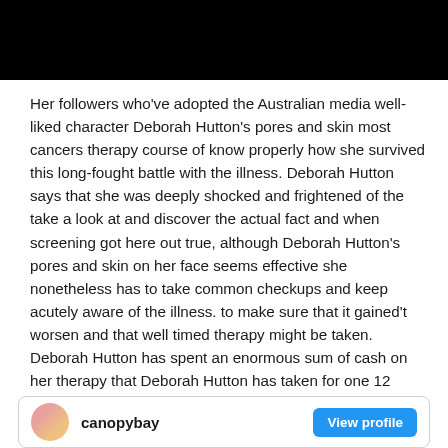[Figure (photo): Image banner partially visible at top, with teal bar overlay, mostly black/dark area]
Her followers who've adopted the Australian media well-liked character Deborah Hutton's pores and skin most cancers therapy course of know properly how she survived this long-fought battle with the illness. Deborah Hutton says that she was deeply shocked and frightened of the take a look at and discover the actual fact and when screening got here out true, although Deborah Hutton's pores and skin on her face seems effective she nonetheless has to take common checkups and keep acutely aware of the illness. to make sure that it gained't worsen and that well timed therapy might be taken. Deborah Hutton has spent an enormous sum of cash on her therapy that Deborah Hutton has taken for one 12 months and lately at her dwelling spending time on social media and making folks conscious of most cancers.
canopybay  View profile